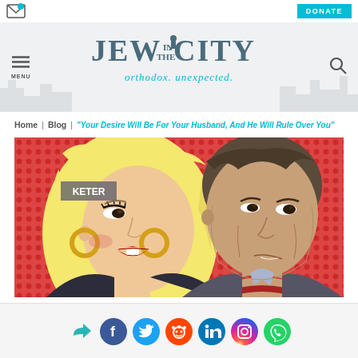Jew in the City — orthodox. unexpected.
Home | Blog | "Your Desire Will Be For Your Husband, And He Will Rule Over You"
[Figure (illustration): Pop-art style illustration of a blonde woman with red lips and gold hoop earrings looking sideways, next to a dark-haired man in a suit with a red scarf. Label 'KETER' in top left corner.]
[Figure (infographic): Social sharing icons row: share arrow, Facebook, Twitter, Reddit, LinkedIn, Instagram, WhatsApp]